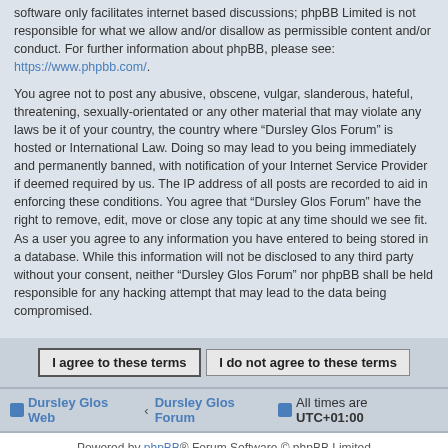software only facilitates internet based discussions; phpBB Limited is not responsible for what we allow and/or disallow as permissible content and/or conduct. For further information about phpBB, please see: https://www.phpbb.com/.
You agree not to post any abusive, obscene, vulgar, slanderous, hateful, threatening, sexually-orientated or any other material that may violate any laws be it of your country, the country where “Dursley Glos Forum” is hosted or International Law. Doing so may lead to you being immediately and permanently banned, with notification of your Internet Service Provider if deemed required by us. The IP address of all posts are recorded to aid in enforcing these conditions. You agree that “Dursley Glos Forum” have the right to remove, edit, move or close any topic at any time should we see fit. As a user you agree to any information you have entered to being stored in a database. While this information will not be disclosed to any third party without your consent, neither “Dursley Glos Forum” nor phpBB shall be held responsible for any hacking attempt that may lead to the data being compromised.
I agree to these terms | I do not agree to these terms
Dursley Glos Web ‹ Dursley Glos Forum | All times are UTC+01:00
Powered by phpBB® Forum Software © phpBB Limited | Privacy | Terms